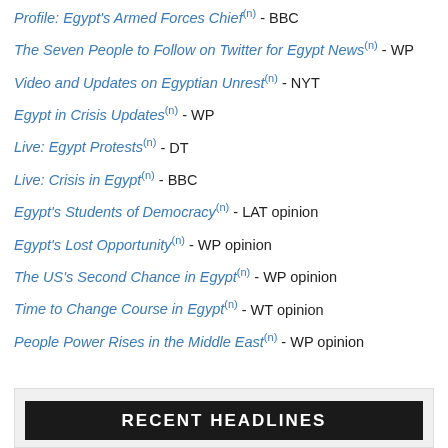Profile: Egypt's Armed Forces Chief [ext] - BBC
The Seven People to Follow on Twitter for Egypt News [ext] - WP
Video and Updates on Egyptian Unrest [ext] - NYT
Egypt in Crisis Updates [ext] - WP
Live: Egypt Protests [ext] - DT
Live: Crisis in Egypt [ext] - BBC
Egypt's Students of Democracy [ext] - LAT opinion
Egypt's Lost Opportunity [ext] - WP opinion
The US's Second Chance in Egypt [ext] - WP opinion
Time to Change Course in Egypt [ext] - WT opinion
People Power Rises in the Middle East [ext] - WP opinion
RECENT HEADLINES